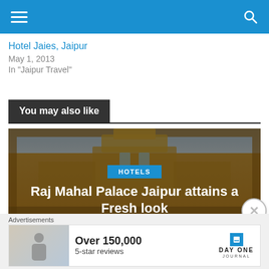Navigation bar with hamburger menu and search icon
Hotel Jaies, Jaipur
May 1, 2013
In "Jaipur Travel"
You may also like
[Figure (photo): Palace building photo with ornate frame overlay and dark tint. Shows yellow Rajasthani palace architecture from courtyard angle with blue sky. Card overlay shows HOTELS tag, title 'Raj Mahal Palace Jaipur attains a Fresh look', and date June 21, 2014]
Advertisements — Over 150,000 5-star reviews — DAY ONE JOURNAL